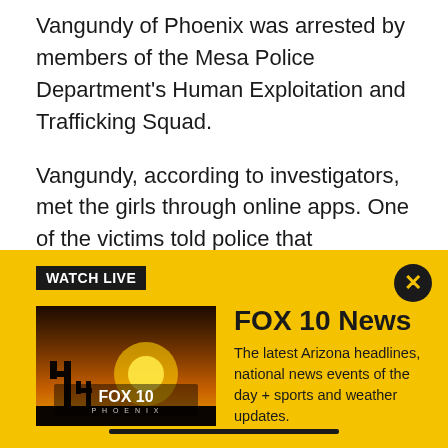Vangundy of Phoenix was arrested by members of the Mesa Police Department's Human Exploitation and Trafficking Squad.
Vangundy, according to investigators, met the girls through online apps. One of the victims told police that Vangundy had four runaway girls living at his apartment in Phoenix, and bought them cell phones so they could arrange sexual encounters with men for money.
"A second girl told police she felt compelled to perform
[Figure (infographic): FOX 10 News Watch Live banner with yellow background, thumbnail image of FOX 10 Phoenix logo with sunset, title 'FOX 10 News', description text about Arizona headlines, and a close button.]